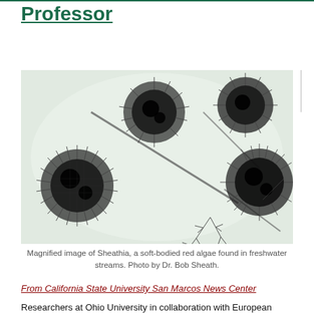Professor
[Figure (photo): Magnified black and white microscope image of Sheathia, a soft-bodied red algae found in freshwater streams, showing circular spiny structures connected by filaments. Photo by Dr. Bob Sheath.]
Magnified image of Sheathia, a soft-bodied red algae found in freshwater streams. Photo by Dr. Bob Sheath.
From California State University San Marcos News Center
Researchers at Ohio University in collaboration with European